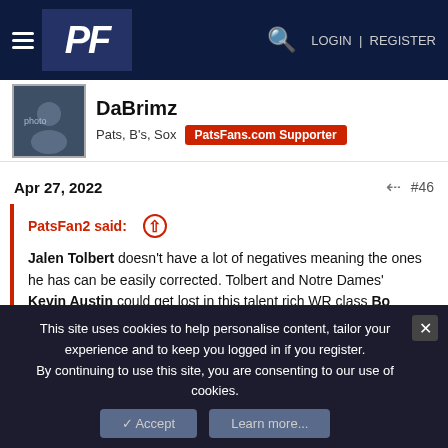PF | LOGIN | REGISTER
DaBrimz
Pats, B's, Sox  PatsFans.com Supporter
Apr 27, 2022  #46
PatsFan2 said:
Jalen Tolbert doesn't have a lot of negatives meaning the ones he has can be easily corrected. Tolbert and Notre Dames' Kevin Austin could get lost in this talent rich WR class Bo Melton is a very interesting prospect too like Alec Pierce and Romeo Doubs. Let's say the Pats let the Draft come to them or stay Pat.😎 I would be happy with the Best Defensive player @ 21- Offensive line @ 54 one of those WR's above @ 84. That would be Three very good picks
Click to expand...
This site uses cookies to help personalise content, tailor your experience and to keep you logged in if you register.
By continuing to use this site, you are consenting to our use of cookies.
Accept  Learn more...